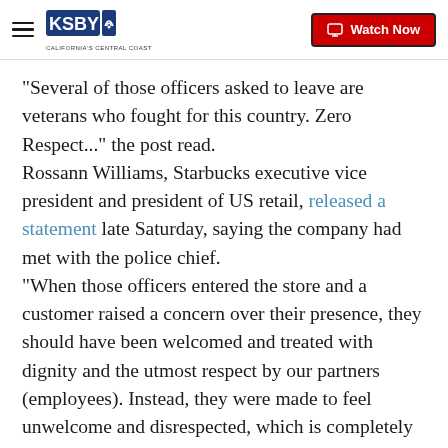KSBY - California's Central Coast | Watch Now
"Several of those officers asked to leave are veterans who fought for this country. Zero Respect..." the post read.
Rossann Williams, Starbucks executive vice president and president of US retail, released a statement late Saturday, saying the company had met with the police chief.
"When those officers entered the store and a customer raised a concern over their presence, they should have been welcomed and treated with dignity and the utmost respect by our partners (employees). Instead, they were made to feel unwelcome and disrespected, which is completely unacceptable," Williams' statement read.